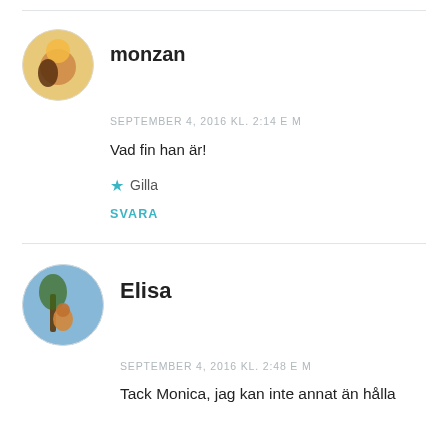[Figure (photo): Circular avatar photo of user monzan, showing a person silhouetted at sunset by the water]
monzan
SEPTEMBER 4, 2016 KL. 2:14 E M
Vad fin han är!
★ Gilla
SVARA
[Figure (photo): Circular avatar photo of user Elisa, showing a person sitting under a tree]
Elisa
SEPTEMBER 4, 2016 KL. 2:48 E M
Tack Monica, jag kan inte annat än hålla